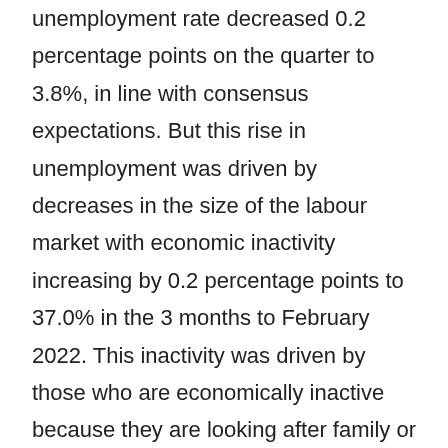unemployment rate decreased 0.2 percentage points on the quarter to 3.8%, in line with consensus expectations. But this rise in unemployment was driven by decreases in the size of the labour market with economic inactivity increasing by 0.2 percentage points to 37.0% in the 3 months to February 2022. This inactivity was driven by those who are economically inactive because they are looking after family or home, retired, or long-term sick.
Average earnings ex bonuses growth showed signs of unwinding with growth recorded flat on the month in February 2022 and 4.0% in the 3 months to February. The six-monthly average monthly trend